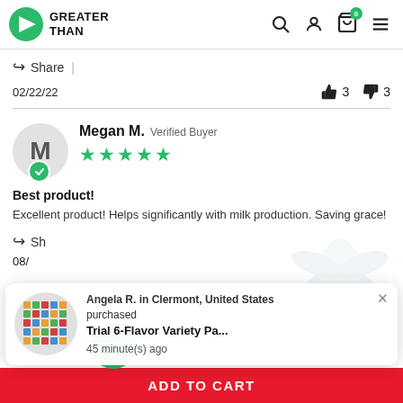GREATER THAN
Share |
02/22/22  👍 3  👎 3
Megan M. Verified Buyer ★★★★★
Best product!
Excellent product! Helps significantly with milk production. Saving grace!
Angela R. in Clermont, United States purchased Trial 6-Flavor Variety Pa... 45 minute(s) ago
ADD TO CART